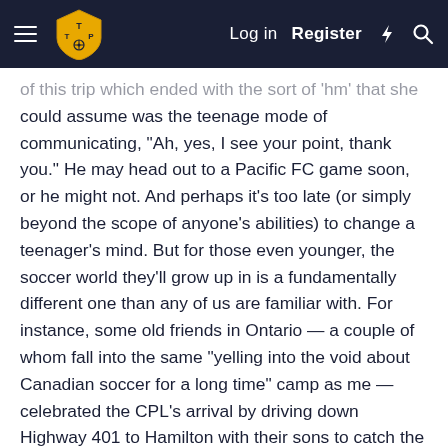Log in  Register
of this trip which ended with the sort of 'hm' that she could assume was the teenage mode of communicating, "Ah, yes, I see your point, thank you." He may head out to a Pacific FC game soon, or he might not. And perhaps it's too late (or simply beyond the scope of anyone's abilities) to change a teenager's mind. But for those even younger, the soccer world they'll grow up in is a fundamentally different one than any of us are familiar with. For instance, some old friends in Ontario — a couple of whom fall into the same "yelling into the void about Canadian soccer for a long time" camp as me — celebrated the CPL's arrival by driving down Highway 401 to Hamilton with their sons to catch the game. They wanted to be part of history; of course, the kids may not have fully appreciated the game's nuances in the same way that their dads did. "My four-year-old son spent most of the game playing